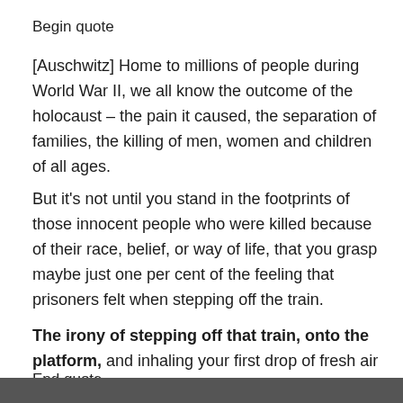Begin quote
[Auschwitz] Home to millions of people during World War II, we all know the outcome of the holocaust – the pain it caused, the separation of families, the killing of men, women and children of all ages.
But it's not until you stand in the footprints of those innocent people who were killed because of their race, belief, or way of life, that you grasp maybe just one per cent of the feeling that prisoners felt when stepping off the train.
The irony of stepping off that train, onto the platform, and inhaling your first drop of fresh air in days.
End quote
[Figure (photo): Dark image strip at the bottom of the page]